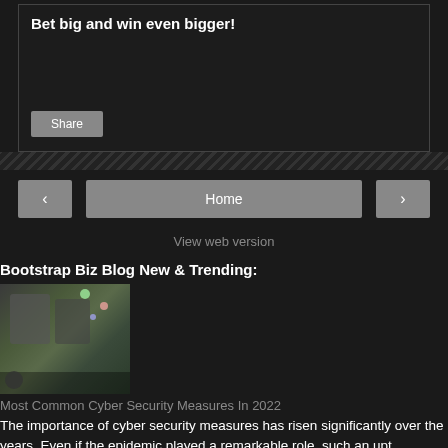Bet big and win even bigger!
Share
‹
Home
›
View web version
Bootstrap Biz Blog New & Trending:
[Figure (photo): Office scene with confetti and people]
Most Common Cyber Security Measures In 2022
The importance of cyber security measures has risen significantly over the years. Even if the epidemic played a remarkable role, such an upt...
[Figure (photo): Person portrait photo (partially visible)]